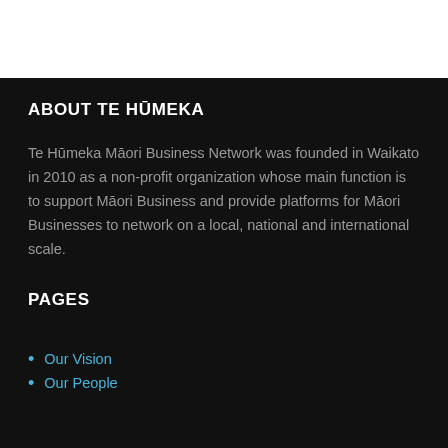ABOUT TE HŪMEKA
Te Hūmeka Māori Business Network was founded in Waikato in 2010 as a non-profit organization whose main function is to support Māori Business and provide platforms for Māori Businesses to network on a local, national and international scale.
PAGES
Our Vision
Our People